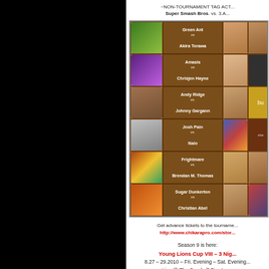~NON-TOURNAMENT TAG ACTION~
Super Smash Bros. vs. 3A...
[Figure (infographic): Grid of wrestling matchup cards with wrestler photos and match text: Green Ant vs Akira Tozawa, Amasis vs Chrisjen Hayre, Andy Ridge vs Johnny Gargano, Josh Pain vs Nala, Frightmare vs Brendan M. Thomas, Sugar Dunkerton vs Christian Abel]
Get advance tickets to the tournament at
http://www.chikarapro.com/store
Season 9 is here:
Young Lions Cup VIII – 3 Night Event
8.27 – 29.2010 – Fri. Evening – Sat. Evening...
Live @ The Goodwill Fire Ass...
100 Madison Avenue
in tranquil Reading, PA!
!